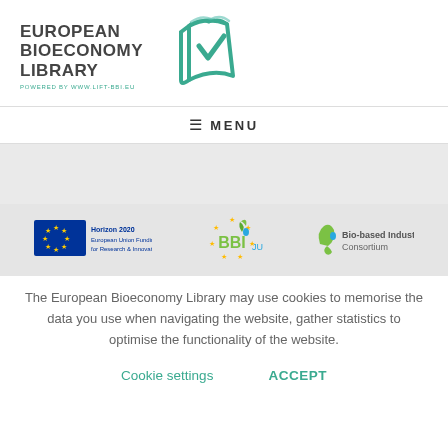[Figure (logo): European Bioeconomy Library logo with book icon and text 'EUROPEAN BIOECONOMY LIBRARY powered by www.lift-bbi.eu']
[Figure (logo): Navigation menu bar with hamburger icon and MENU text]
[Figure (logo): Three logos: Horizon 2020 EU flag logo, BBI JU logo, Bio-based Industries Consortium logo]
The European Bioeconomy Library may use cookies to memorise the data you use when navigating the website, gather statistics to optimise the functionality of the website.
Cookie settings   ACCEPT